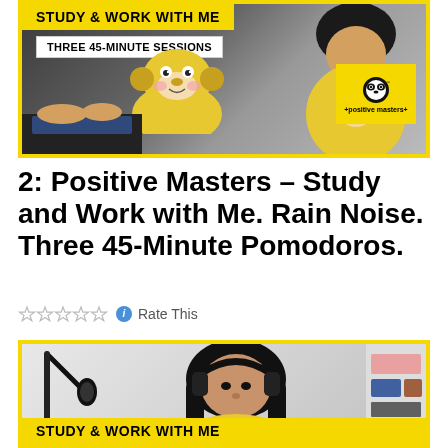[Figure (screenshot): YouTube video thumbnail showing a person working at a computer with yellow border, 'STUDY & WORK WITH ME' yellow banner, 'THREE 45-MINUTE SESSIONS' white label, and Positive Masters panda logo]
2: Positive Masters – Study and Work with Me. Rain Noise. Three 45-Minute Pomodoros.
Rate This
[Figure (screenshot): YouTube video thumbnail showing a person wearing headphones with yellow border and 'STUDY & WORK WITH ME' yellow banner at bottom]